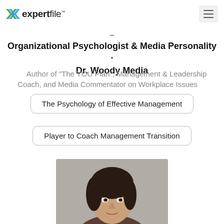expertfile
Organizational Psychologist & Media Personality · Dr. Woody Media
Author of "The YOU Plan", Management & Leadership Coach, and Media Commentator on Workplace Issues
The Psychology of Effective Management
Player to Coach Management Transition
[Figure (photo): Headshot of a woman with dark hair against a grey background]